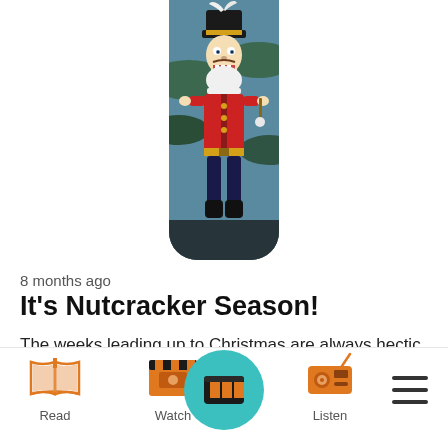[Figure (photo): A nutcracker figurine ornament with white feather hat, red uniform, photographed against dark background with pine branches. The image is cropped in a rounded-bottom rectangle shape.]
8 months ago
It's Nutcracker Season!
The weeks leading up to Christmas are always hectic
[Figure (infographic): Bottom navigation bar with icons: Read (open book icon, orange), Watch (clapperboard icon, orange), center active button (radio/streaming icon on teal circle), Listen (radio icon, orange), hamburger menu (three horizontal lines)]